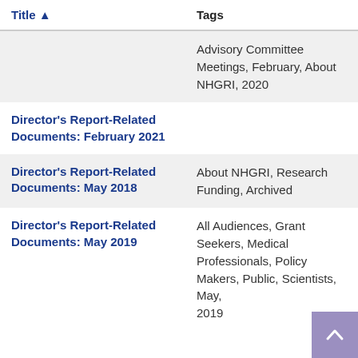| Title ▲ | Tags |
| --- | --- |
|  | Advisory Committee Meetings, February, About NHGRI, 2020 |
| Director's Report-Related Documents: February 2021 |  |
| Director's Report-Related Documents: May 2018 | About NHGRI, Research Funding, Archived |
| Director's Report-Related Documents: May 2019 | All Audiences, Grant Seekers, Medical Professionals, Policy Makers, Public, Scientists, May, 2019 |